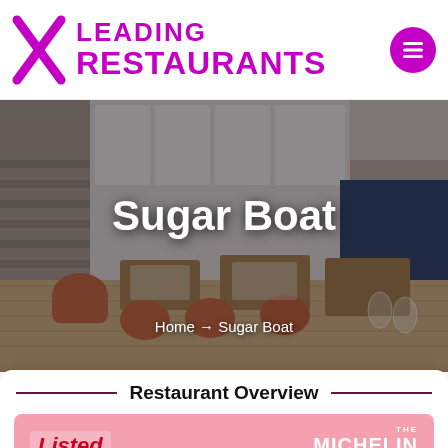Leading Restaurants
[Figure (photo): Restaurant interior of Sugar Boat showing dining tables, orange chairs, blue banquette seating, with breadcrumb navigation 'Home → Sugar Boat']
Sugar Boat
Home → Sugar Boat
Restaurant Overview
[Figure (infographic): Michelin Guide badge showing 'Listed' text on pink background with THE MICHELIN GUIDE logo on the right]